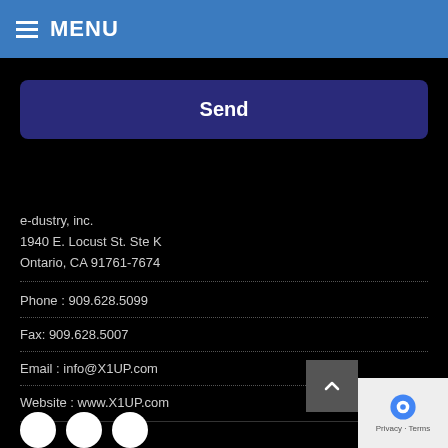MENU
Send
e-dustry, inc.
1940 E. Locust St. Ste K
Ontario, CA 91761-7674
Phone : 909.628.5099
Fax: 909.628.5007
Email : info@X1UP.com
Website : www.X1UP.com